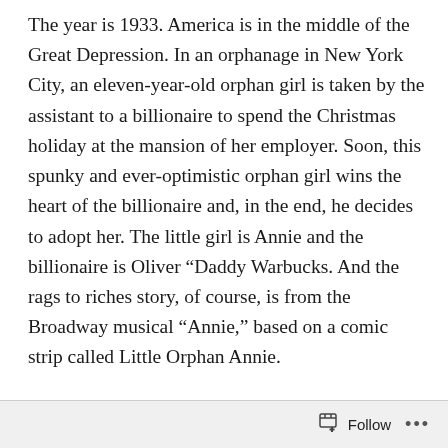The year is 1933. America is in the middle of the Great Depression. In an orphanage in New York City, an eleven-year-old orphan girl is taken by the assistant to a billionaire to spend the Christmas holiday at the mansion of her employer. Soon, this spunky and ever-optimistic orphan girl wins the heart of the billionaire and, in the end, he decides to adopt her. The little girl is Annie and the billionaire is Oliver “Daddy Warbucks. And the rags to riches story, of course, is from the Broadway musical “Annie,” based on a comic strip called Little Orphan Annie.
When Annie was adopted by “Daddy” Warbucks, she was given the right to be called his child. She no longer needed to live in the orphanage, where she
Follow ...